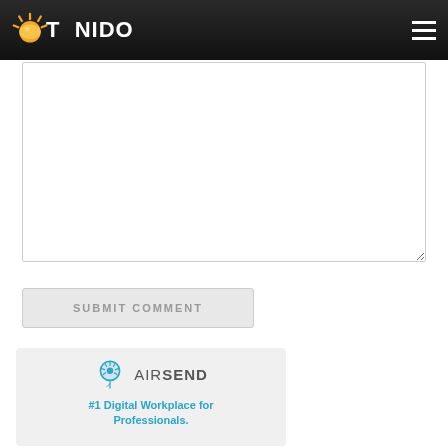TONIDO
[Figure (screenshot): Empty comment textarea with white background and resize handle]
SUBMIT COMMENT
[Figure (logo): AirSend advertisement box with logo and tagline: #1 Digital Workplace for Professionals.]